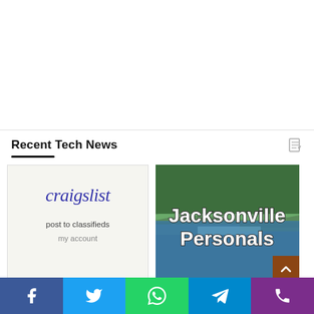Recent Tech News
[Figure (screenshot): Craigslist website screenshot showing 'craigslist' logo in blue serif italic font, 'post to classifieds' and 'my account' text on a light gray background]
[Figure (photo): Satellite aerial map photo of Jacksonville coastline with overlay text 'Jacksonville Personals' in bold white font with dark outline]
[Figure (infographic): Social media share bar at bottom with Facebook (blue), Twitter (light blue), WhatsApp (green), Telegram (blue), and Phone/Viber (purple) buttons]